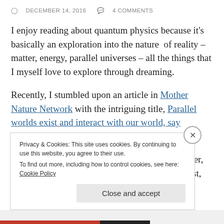DECEMBER 14, 2016   4 COMMENTS
I enjoy reading about quantum physics because it's basically an exploration into the nature of reality – matter, energy, parallel universes – all the things that I myself love to explore through dreaming.
Recently, I stumbled upon an article in Mother Nature Network with the intriguing title, Parallel worlds exist and interact with our world, say physicists
It takes the theory of parallel worlds a step further, because it proposes that they might not only exist, but also affect our
Privacy & Cookies: This site uses cookies. By continuing to use this website, you agree to their use.
To find out more, including how to control cookies, see here: Cookie Policy
Close and accept